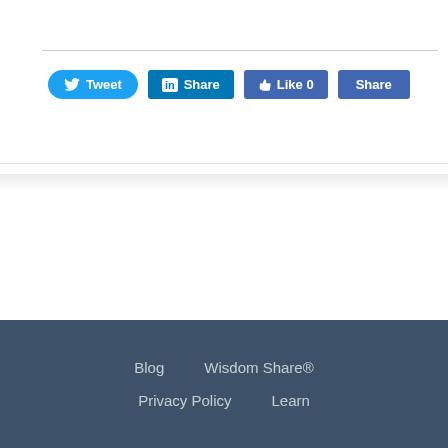[Figure (screenshot): Social share buttons row: Tweet (Twitter), Share (LinkedIn), Like 0 (Facebook), Share (Facebook)]
Blog   Wisdom Share®
Privacy Policy   Learn